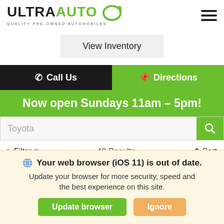[Figure (logo): Ultra Auto logo with tire graphic and text 'ULTRAAUTO QUALITY PRE-OWNED AUTOMOBILES']
View Inventory
Call Us
Directions
Now open Sundays 11am – 5pm!
Toyota
> Filter  40 Results  ⬍ Sort
Your web browser (iOS 11) is out of date.
Update your browser for more security, speed and the best experience on this site.
Update browser
Ignore